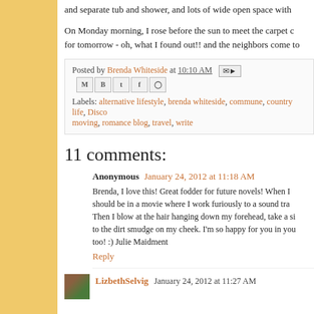and separate tub and shower, and lots of wide open space with
On Monday morning, I rose before the sun to meet the carpet c for tomorrow - oh, what I found out!! and the neighbors come to
Posted by Brenda Whiteside at 10:10 AM
Labels: alternative lifestyle, brenda whiteside, commune, country life, Disco moving, romance blog, travel, write
11 comments:
Anonymous January 24, 2012 at 11:18 AM
Brenda, I love this! Great fodder for future novels! When I should be in a movie where I work furiously to a sound tra Then I blow at the hair hanging down my forehead, take a si to the dirt smudge on my cheek. I'm so happy for you in yo too! :) Julie Maidment
Reply
LizbethSelvig January 24, 2012 at 11:27 AM